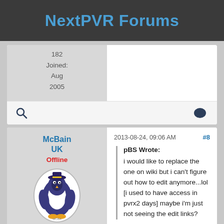NextPVR Forums
182
Joined: Aug 2005
2013-08-24, 09:06 AM  #8
McBain UK
Offline
Posting Freak
pBS Wrote:
i would like to replace the one on wiki but i can't figure out how to edit anymore...lol
[i used to have access in pvrx2 days] maybe i'm just not seeing the edit links?